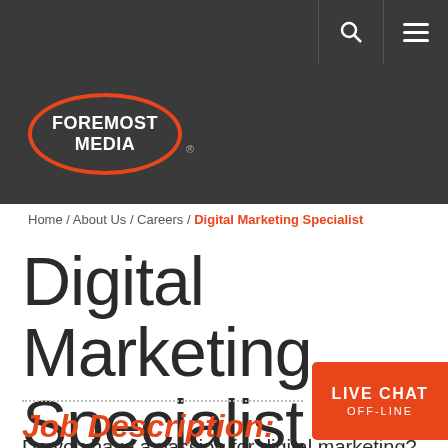Foremost Media - navigation bar with search and menu icons
[Figure (logo): Foremost Media logo: oval red border on dark background with white text FOREMOST MEDIA]
Home / About Us / Careers / Digital Marketing Specialist
Digital Marketing Specialist
Job Description:
Do you have a passion for digital marketing? Are you reading blogs and books about